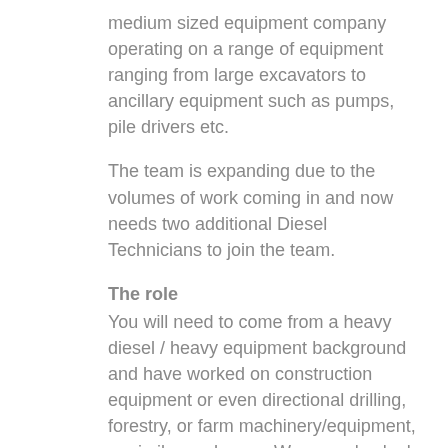medium sized equipment company operating on a range of equipment ranging from large excavators to ancillary equipment such as pumps, pile drivers etc.
The team is expanding due to the volumes of work coming in and now needs two additional Diesel Technicians to join the team.
The role
You will need to come from a heavy diesel / heavy equipment background and have worked on construction equipment or even directional drilling, forestry, or farm machinery/equipment, or similar such gear. We may also look at a material handling background.
The workshop employs a well skilled team of technicians and support staff working from a